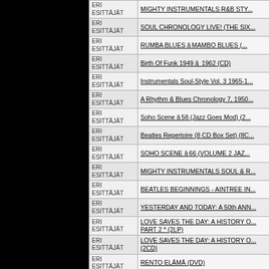| Esittäjä | Title |
| --- | --- |
| ERI ESITTÄJÄT | MIGHTY INSTRUMENTALS R&B STY... |
| ERI ESITTÄJÄT | SOUL CHRONOLOGY LIVE! (THE SI... |
| ERI ESITTÄJÄT | RUMBA BLUES â MAMBO BLUES (... |
| ERI ESITTÄJÄT | Birth Of Funk 1949 â 1962 (CD) |
| ERI ESITTÄJÄT | Instrumentals Soul-Style Vol. 3 1965-1... |
| ERI ESITTÄJÄT | A Rhythm & Blues Chronology 7, 1950... |
| ERI ESITTÄJÄT | Soho Scene â58 (Jazz Goes Mod) (2... |
| ERI ESITTÄJÄT | Beatles Repertoire (8 CD Box Set) (8C... |
| ERI ESITTÄJÄT | SOHO SCENE â66 (VOLUME 2 JAZ... |
| ERI ESITTÄJÄT | MIGHTY INSTRUMENTALS SOUL & R... |
| ERI ESITTÄJÄT | BEATLES BEGINNINGS - AINTREE IN... |
| ERI ESITTÄJÄT | YESTERDAY AND TODAY: A 50th ANN... |
| ERI ESITTÄJÄT | LOVE SAVES THE DAY: A HISTORY O... PART 2 * (2LP) |
| ERI ESITTÄJÄT | LOVE SAVES THE DAY: A HISTORY O... (2CD) |
| ERI ESITTÄJÄT | RENTO ELÄMÄ (DVD) |
| ERI ESITTÄJÄT | VIVE LE ROCK âNâ ROLL - THE U... 1956 to 1962 (CD) |
| ERI ESITTÄJÄT | RIGHT BACK WHERE WE STARTED... BRITAIN (3CD) |
| ERI ESITTÄJÄT | ROCKET GIRL 20 * (BOOK+CD+7") |